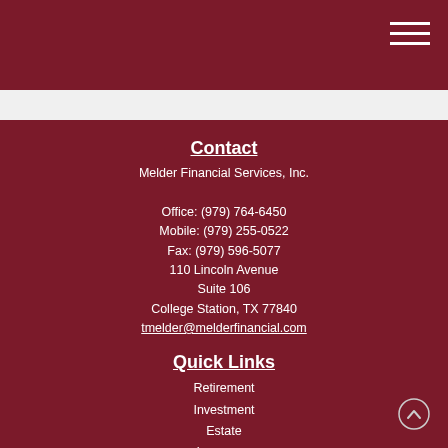Contact
Melder Financial Services, Inc.
Office: (979) 764-6450
Mobile: (979) 255-0522
Fax: (979) 596-5077
110 Lincoln Avenue
Suite 106
College Station, TX 77840
tmelder@melderfinancial.com
Quick Links
Retirement
Investment
Estate
Insurance